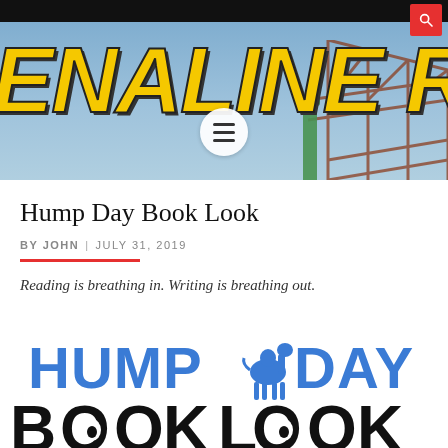[Figure (screenshot): Website header banner with yellow italic bold text reading 'ENALINE R' (partial 'ADRENALINE READ' or similar) on a blue sky background with a roller coaster structure. A hamburger menu button is centered at the bottom of the banner. A search icon in a red button is at the top right.]
Hump Day Book Look
BY JOHN  |  JULY 31, 2019
Reading is breathing in. Writing is breathing out.
[Figure (logo): Hump Day Book Look logo: 'HUMP DAY' in blue dripping/drippy font with a camel silhouette, and 'BOOK LOOK' in large black bold font with eyes in the O's]